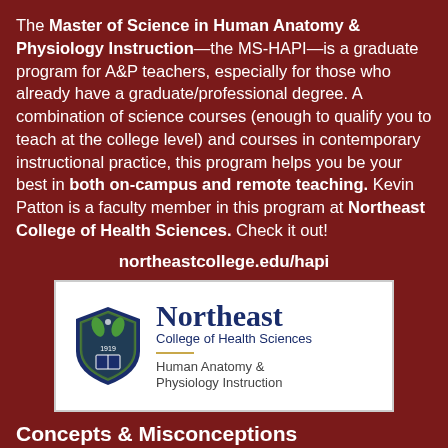The Master of Science in Human Anatomy & Physiology Instruction—the MS-HAPI—is a graduate program for A&P teachers, especially for those who already have a graduate/professional degree. A combination of science courses (enough to qualify you to teach at the college level) and courses in contemporary instructional practice, this program helps you be your best in both on-campus and remote teaching. Kevin Patton is a faculty member in this program at Northeast College of Health Sciences. Check it out!
northeastcollege.edu/hapi
[Figure (logo): Northeast College of Health Sciences logo with shield emblem, college name, and 'Human Anatomy & Physiology Instruction' subtitle]
Concepts & Misconceptions